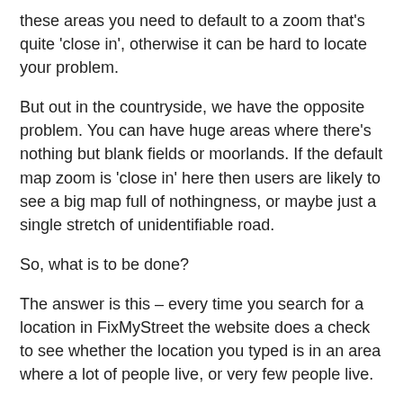these areas you need to default to a zoom that's quite 'close in', otherwise it can be hard to locate your problem.
But out in the countryside, we have the opposite problem. You can have huge areas where there's nothing but blank fields or moorlands. If the default map zoom is 'close in' here then users are likely to see a big map full of nothingness, or maybe just a single stretch of unidentifiable road.
So, what is to be done?
The answer is this – every time you search for a location in FixMyStreet the website does a check to see whether the location you typed is in an area where a lot of people live, or very few people live.
mySociety has been storing this population density data in a webservice which we call Gaze. If the area you